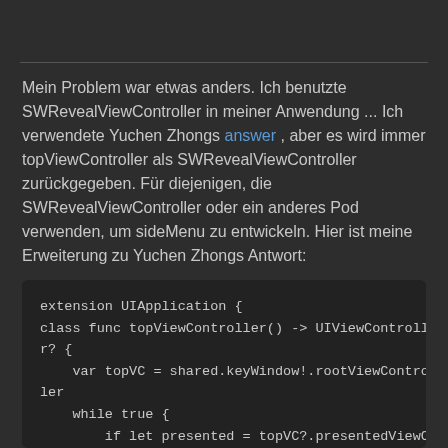Mein Problem war etwas anders. Ich benutzte SWRevealViewController in meiner Anwendung ... Ich verwendete Yuchen Zhongs answer , aber es wird immer topViewController als SWRevealViewController zurückgegeben. Für diejenigen, die SWRevealViewController oder ein anderes Pod verwenden, um sideMenu zu entwickeln. Hier ist meine Erweiterung zu Yuchen Zhongs Antwort:
[Figure (screenshot): Code block showing Swift extension UIApplication with class func topViewController() -> UIViewController? containing var topVC = shared.keyWindow!.rootViewController, while true { if let presented = topVC?.presentedViewCo]